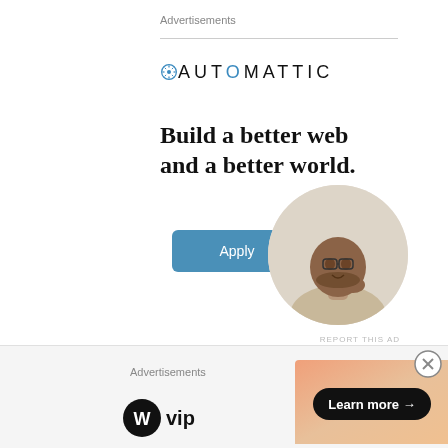Advertisements
[Figure (logo): Automattic logo with gear/compass icon and uppercase lettering AUTOMATTIC]
Build a better web and a better world.
[Figure (illustration): Blue rounded rectangle Apply button]
[Figure (photo): Circular cropped photo of a man with glasses thinking, sitting at a desk]
REPORT THIS AD
Using your collections and curated items in a way other than straight-forward display is a great way to
Advertisements
[Figure (logo): WordPress VIP logo — W circle icon and 'vip' text]
[Figure (infographic): Gradient banner ad (orange/peach) with 'Learn more →' button in dark pill]